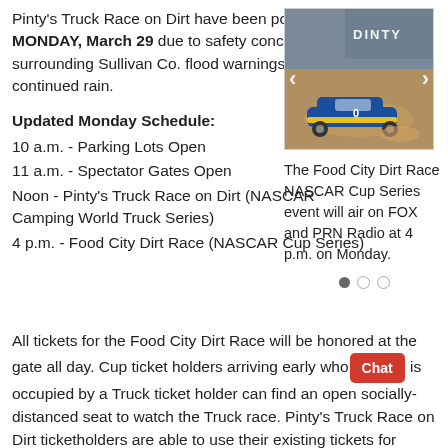Pinty's Truck Race on Dirt have been postponed to MONDAY, March 29 due to safety concerns surrounding Sullivan Co. flood warnings and continued rain.
[Figure (photo): A NASCAR stock car racing on a dirt track, with arrows indicating a photo carousel. Text 'DINTY' visible in background signage.]
The Food City Dirt Race NASCAR Cup Series event will air on FOX and PRN Radio at 4 p.m. on Monday.
Updated Monday Schedule:
10 a.m. - Parking Lots Open
11 a.m. - Spectator Gates Open
Noon - Pinty's Truck Race on Dirt (NASCAR Camping World Truck Series)
4 p.m. - Food City Dirt Race (NASCAR Cup Series)
All tickets for the Food City Dirt Race will be honored at the gate all day. Cup ticket holders arriving early who [Chat] is occupied by a Truck ticket holder can find an open socially-distanced seat to watch the Truck race. Pinty's Truck Race on Dirt ticketholders are able to use their existing tickets for